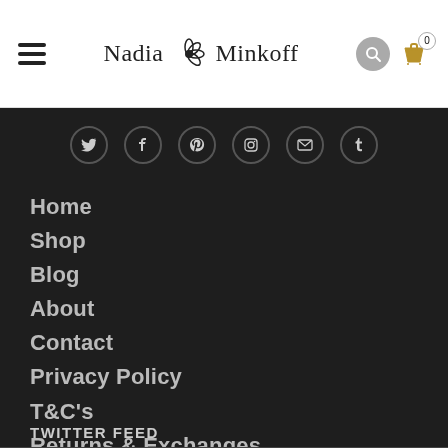Nadia Minkoff
Home
Shop
Blog
About
Contact
Privacy Policy
T&C's
Returns & Exchanges
Shipping Information
TWITTER FEED